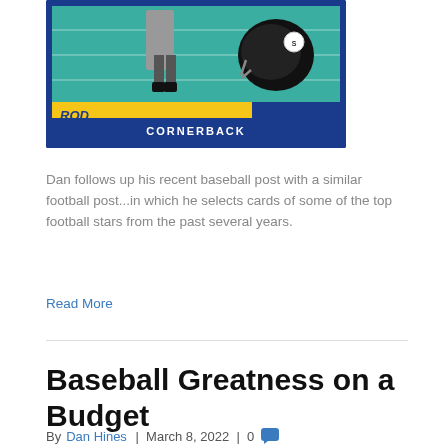[Figure (photo): Rod Woodson football trading card showing cornerback in Pittsburgh Steelers uniform with helmet logo]
Dan follows up his recent baseball post with a similar football post...in which he selects cards of some of the top football stars from the past several years.
Read More
Baseball Greatness on a Budget
By Dan Hines | March 8, 2022 | 0